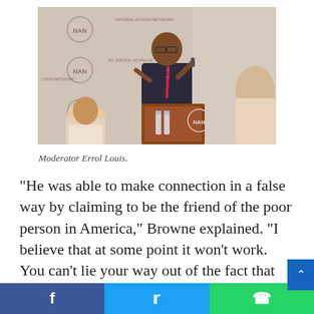[Figure (photo): A man in a dark suit and striped tie speaks at a podium with NAN (National Action Network) logos on a backdrop. Another man is seated to the left. Water bottles are visible at the podium.]
Moderator Errol Louis.
“He was able to make connection in a false way by claiming to be the friend of the poor person in America,” Browne explained. “I believe that at some point it won’t work. You can’t lie your way out of the fact that you aren’t getting things done in Washington
Facebook  Twitter  WhatsApp